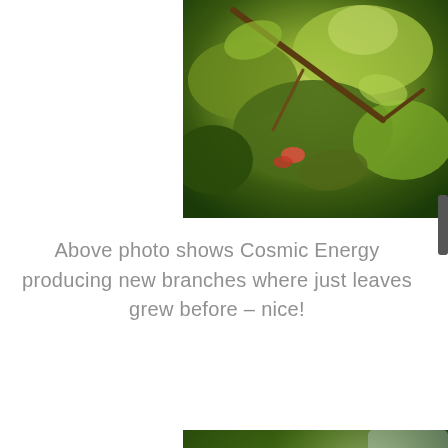[Figure (photo): Close-up photo of green plant foliage with leaves and branches, showing Cosmic Energy plant producing new branches]
Above photo shows Cosmic Energy producing new branches where just leaves grew before – nice!
[Figure (photo): Close-up photo of dark green leafy plant with buds, showing lush tropical foliage with a TOP badge in the bottom right corner]